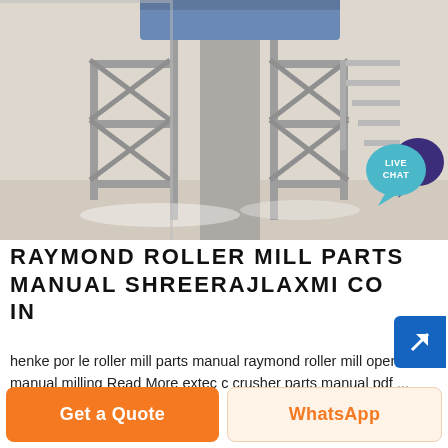[Figure (photo): Industrial conveyor or roller mill structure with metal scaffolding and stairs, covered in white dust, photographed from below]
RAYMOND ROLLER MILL PARTS MANUAL SHREERAJLAXMI CO IN
henke por le roller mill parts manual raymond roller mill operation manual milling Read More extec c crusher parts manual pdf ...
[Figure (photo): Industrial machinery silhouetted against a blue sky with white clouds]
Get a Quote
WhatsApp